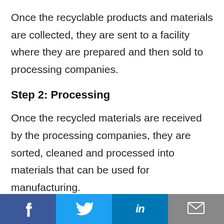Once the recyclable products and materials are collected, they are sent to a facility where they are prepared and then sold to processing companies.
Step 2: Processing
Once the recycled materials are received by the processing companies, they are sorted, cleaned and processed into materials that can be used for manufacturing.
Social share bar: Facebook, Twitter, LinkedIn, Email